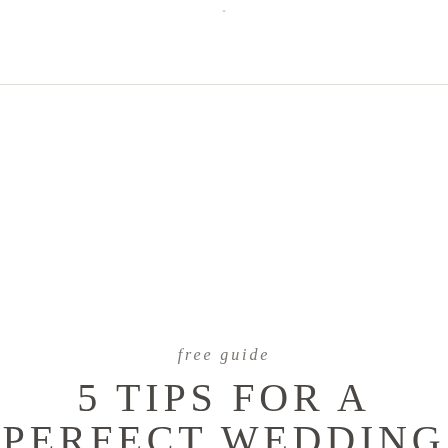*
free guide
5 TIPS FOR A PERFECT WEDDING